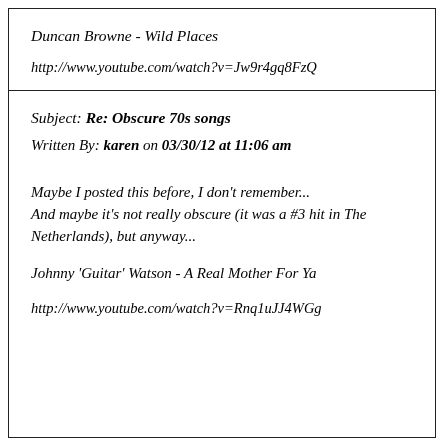Duncan Browne - Wild Places
http://www.youtube.com/watch?v=Jw9r4gq8FzQ
Subject: Re: Obscure 70s songs
Written By: karen on 03/30/12 at 11:06 am
Maybe I posted this before, I don't remember... And maybe it's not really obscure (it was a #3 hit in The Netherlands), but anyway...
Johnny 'Guitar' Watson - A Real Mother For Ya
http://www.youtube.com/watch?v=Rnq1uJJ4WGg